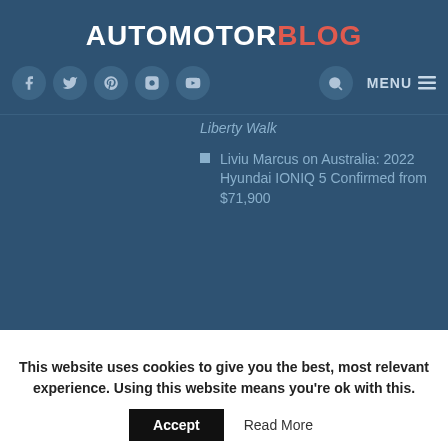AUTOMOTORBLOG
[Figure (infographic): Navigation bar with social media icons (Facebook, Twitter, Pinterest, Instagram, YouTube), search icon, and MENU button]
Liberty Walk
Liviu Marcus on Australia: 2022 Hyundai IONIQ 5 Confirmed from $71,900
This website uses cookies to give you the best, most relevant experience. Using this website means you're ok with this.
Accept   Read More